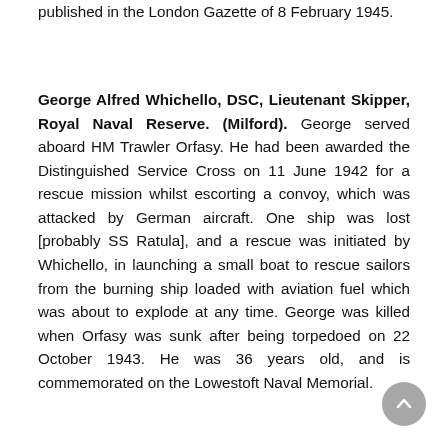published in the London Gazette of 8 February 1945.
George Alfred Whichello, DSC, Lieutenant Skipper, Royal Naval Reserve. (Milford). George served aboard HM Trawler Orfasy. He had been awarded the Distinguished Service Cross on 11 June 1942 for a rescue mission whilst escorting a convoy, which was attacked by German aircraft. One ship was lost [probably SS Ratula], and a rescue was initiated by Whichello, in launching a small boat to rescue sailors from the burning ship loaded with aviation fuel which was about to explode at any time. George was killed when Orfasy was sunk after being torpedoed on 22 October 1943. He was 36 years old, and is commemorated on the Lowestoft Naval Memorial.